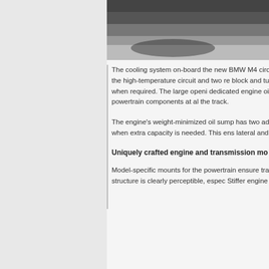[Figure (photo): Black and white photo showing a close-up of a BMW M4, likely showing part of the car body or undercarriage area, with shadows visible]
The cooling system on-board the new BMW M4 circuit. The indirect intercooler works using an ele module in the high-temperature circuit and two re block and turbochargers with the help of a mecha can also engage when required. The large openi dedicated engine oil cooler as well as a transmis temperatures for all powertrain components at al the track.
The engine's weight-minimized oil sump has two additional suction stage allows the map-controlle steps in when extra capacity is needed. This ens lateral and longitudinal acceleration.
Uniquely crafted engine and transmission mo
Model-specific mounts for the powertrain ensure transferred to the road via the rear wheels quickl to the car's structure is clearly perceptible, espec Stiffer engine mounts with equal settings on both